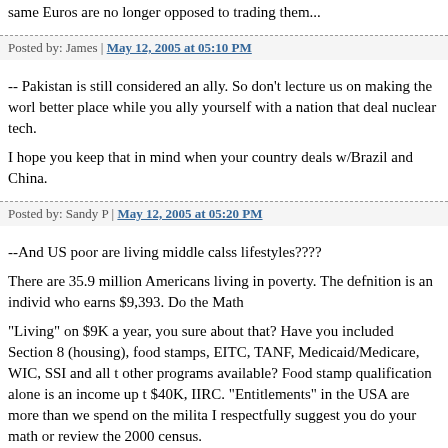same Euros are no longer opposed to trading them...
Posted by: James | May 12, 2005 at 05:10 PM
-- Pakistan is still considered an ally. So don't lecture us on making the world a better place while you ally yourself with a nation that deal nuclear tech.

I hope you keep that in mind when your country deals w/Brazil and China.
Posted by: Sandy P | May 12, 2005 at 05:20 PM
--And US poor are living middle calss lifestyles????
There are 35.9 million Americans living in poverty. The defnition is an individual who earns $9,393. Do the Math
"Living" on $9K a year, you sure about that? Have you included Section 8 (housing), food stamps, EITC, TANF, Medicaid/Medicare, WIC, SSI and all the other programs available? Food stamp qualification alone is an income up to $40K, IIRC. "Entitlements" in the USA are more than we spend on the military. I respectfully suggest you do your math or review the 2000 census.
"And considering our air is getting so clean we're allowing more sun to hit America which will increase skin cancer...."